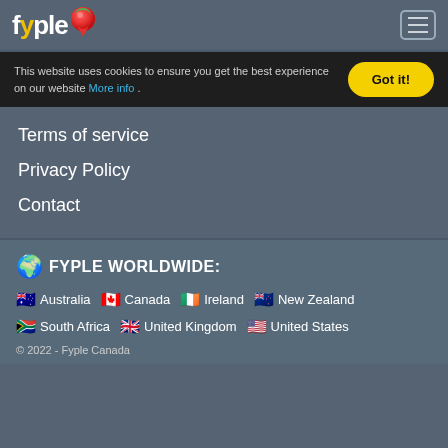fyple [logo]
This website uses cookies to ensure you get the best experience on our website More info . Got it!
Terms of service
Privacy Policy
Contact
🌍 FYPLE WORLDWIDE:
🇦🇺 Australia  🇨🇦 Canada  🇮🇪 Ireland  🇳🇿 New Zealand  🇿🇦 South Africa  🇬🇧 United Kingdom  🇺🇸 United States
© 2022 - Fyple Canada